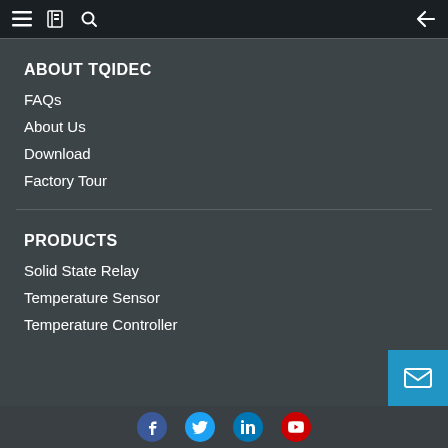Navigation menu bar with hamburger, book icon, search icon, and back arrow
ABOUT TQIDEC
FAQs
About Us
Download
Factory Tour
PRODUCTS
Solid State Relay
Temperature Sensor
Temperature Controller